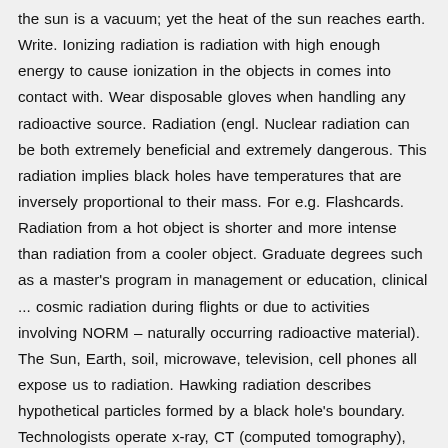the sun is a vacuum; yet the heat of the sun reaches earth. Write. Ionizing radiation is radiation with high enough energy to cause ionization in the objects in comes into contact with. Wear disposable gloves when handling any radioactive source. Radiation (engl. Nuclear radiation can be both extremely beneficial and extremely dangerous. This radiation implies black holes have temperatures that are inversely proportional to their mass. For e.g. Flashcards. Radiation from a hot object is shorter and more intense than radiation from a cooler object. Graduate degrees such as a master's program in management or education, clinical ... cosmic radiation during flights or due to activities involving NORM – naturally occurring radioactive material). The Sun, Earth, soil, microwave, television, cell phones all expose us to radiation. Hawking radiation describes hypothetical particles formed by a black hole's boundary. Technologists operate x-ray, CT (computed tomography), MRI (magnetic resonance imaging), radiation therapy, ultrasound, and similar equipment essential in a hospital or health care setting.